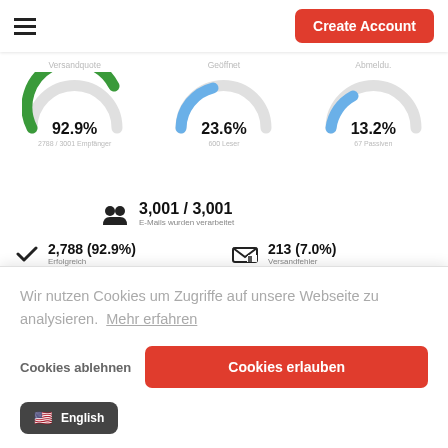Create Account
[Figure (infographic): Three semicircular gauge charts showing Versandquote 92.9%, Boomed 23.6%, and Absents 13.2% with colored arcs (green, blue, blue-grey)]
3,001 / 3,001 E-Mails wurden verarbeitet
2,788 (92.9%) Erfolgreich
213 (7.0%) Versandfehler
Wir nutzen Cookies um Zugriffe auf unsere Webseite zu analysieren.  Mehr erfahren
Cookies ablehnen
Cookies erlauben
English